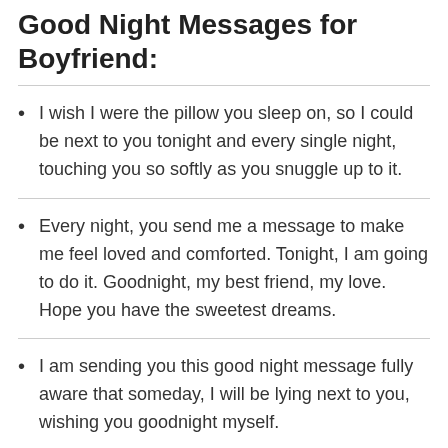Good Night Messages for Boyfriend:
I wish I were the pillow you sleep on, so I could be next to you tonight and every single night, touching you so softly as you snuggle up to it.
Every night, you send me a message to make me feel loved and comforted. Tonight, I am going to do it. Goodnight, my best friend, my love. Hope you have the sweetest dreams.
I am sending you this good night message fully aware that someday, I will be lying next to you, wishing you goodnight myself.
Whenever I am having trouble sleeping, I just watch Netflix until I pass out. Unfortunately, all the shows I watch are our favorite and they remind me of you. Goodnight.